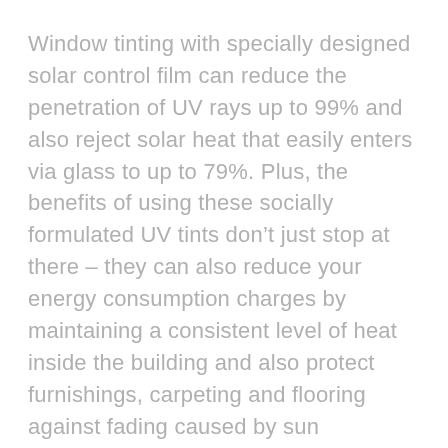Window tinting with specially designed solar control film can reduce the penetration of UV rays up to 99% and also reject solar heat that easily enters via glass to up to 79%. Plus, the benefits of using these socially formulated UV tints don’t just stop at there – they can also reduce your energy consumption charges by maintaining a consistent level of heat inside the building and also protect furnishings, carpeting and flooring against fading caused by sun exposure.
With the rising threat of skin diseases caused by harmful UV rays, it’s essential to keep a check on the degree of sun exposure on a regular basis. In this context, even dermatologists are referring both individuals and businesses to invest in quality UV blocking 3M window films.